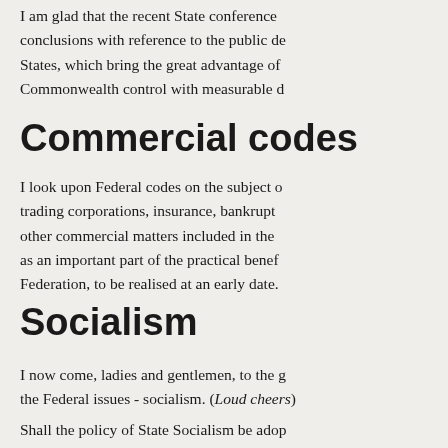I am glad that the recent State conference conclusions with reference to the public de States, which bring the great advantage of Commonwealth control with measurable d
Commercial codes
I look upon Federal codes on the subject o trading corporations, insurance, bankrupt other commercial matters included in the as an important part of the practical benef Federation, to be realised at an early date.
Socialism
I now come, ladies and gentlemen, to the g the Federal issues - socialism. (Loud cheers)
Shall the policy of State Socialism be adop